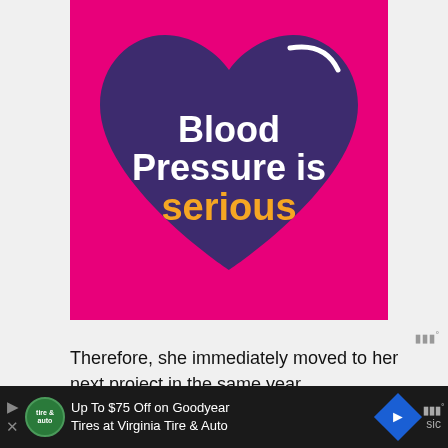[Figure (infographic): Pink background square with a large dark purple heart shape in the center. Inside the heart, white bold text reads 'Blood Pressure is' and below in golden/yellow bold text reads 'serious'. A small white curved arc decorates the upper right of the heart.]
Therefore, she immediately moved to her next project in the same year.
[Figure (screenshot): Dark advertisement bar at the bottom: 'Up To $75 Off on Goodyear Tires at Virginia Tire & Auto' with a Tire & Auto logo circle and a blue navigation diamond icon on the right. A Merriam-Webster style logo appears on the far right.]